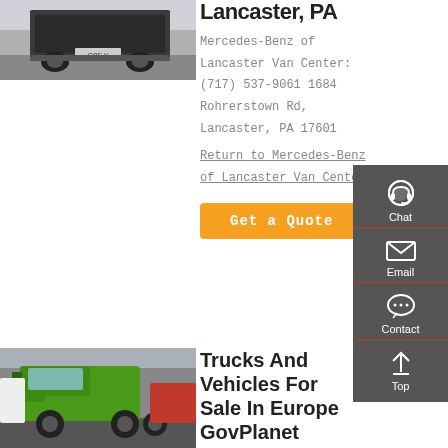[Figure (photo): Rear view of a dark commercial truck/van in a parking area]
Lancaster, PA
Mercedes-Benz of Lancaster Van Center: (717) 537-9061 1684 Rohrerstown Rd, Lancaster, PA 17601
Return to Mercedes-Benz of Lancaster Van Center
Get a Quote
[Figure (photo): Green heavy-duty trucks parked in a lot]
Trucks And Vehicles For Sale In Europe GovPlanet